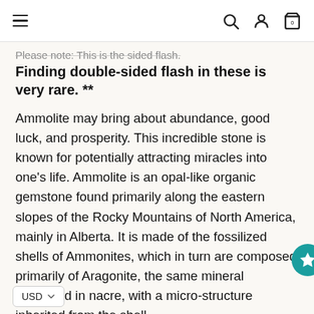≡  🔍  👤  🛍 0
Please note: This is the sided flash. Finding double-sided flash in these is very rare. **
Ammolite may bring about abundance, good luck, and prosperity. This incredible stone is known for potentially attracting miracles into one's life. Ammolite is an opal-like organic gemstone found primarily along the eastern slopes of the Rocky Mountains of North America, mainly in Alberta. It is made of the fossilized shells of Ammonites, which in turn are composed primarily of Aragonite, the same mineral contained in nacre, with a micro-structure inherited from the shell.